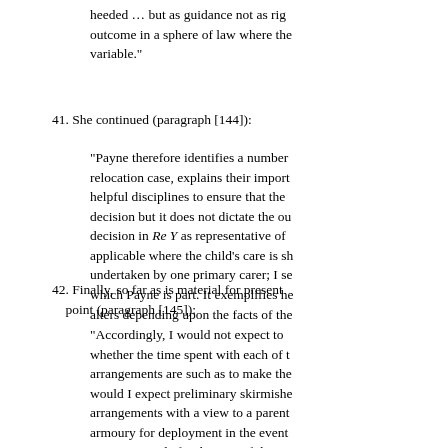heeded … but as guidance not as rig outcome in a sphere of law where the variable."
41. She continued (paragraph [144]):
"Payne therefore identifies a number relocation case, explains their import helpful disciplines to ensure that the decision but it does not dictate the ou decision in Re Y as representative of applicable where the child's care is s undertaken by one primary carer; I se which Payne is part. It exemplifies h alters depending upon the facts of the
42. Finally, so far as is material for present point (paragraph [145]):
"Accordingly, I would not expect to whether the time spent with each of t arrangements are such as to make the would I expect preliminary skirmishe arrangements with a view to a parent armoury for deployment in the event parents provide for the care of their c the best of cases they are flexible ano time. When a relocation application f be considered."